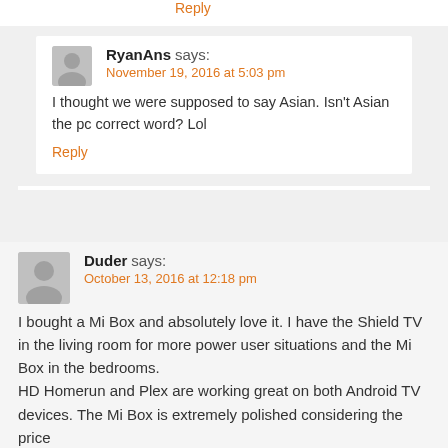Reply
RyanAns says:
November 19, 2016 at 5:03 pm
I thought we were supposed to say Asian. Isn't Asian the pc correct word? Lol
Reply
Duder says:
October 13, 2016 at 12:18 pm
I bought a Mi Box and absolutely love it. I have the Shield TV in the living room for more power user situations and the Mi Box in the bedrooms.
HD Homerun and Plex are working great on both Android TV devices. The Mi Box is extremely polished considering the price